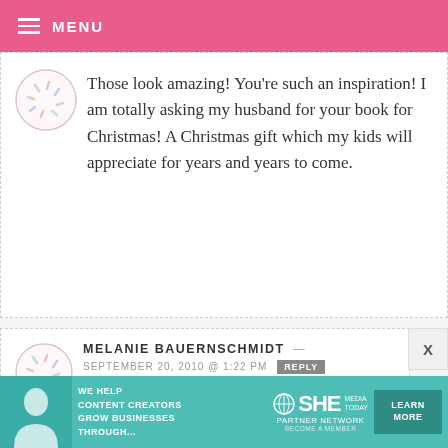MENU
Those look amazing! You’re such an inspiration! I am totally asking my husband for your book for Christmas! A Christmas gift which my kids will appreciate for years and years to come.
MELANIE BAUERNSCHMIDT — SEPTEMBER 20, 2010 @ 1:22 PM REPLY
I REALLY need and want to try these.
[Figure (infographic): Advertisement banner: SHE Media Partner Network - We help content creators grow businesses through... Learn More button]